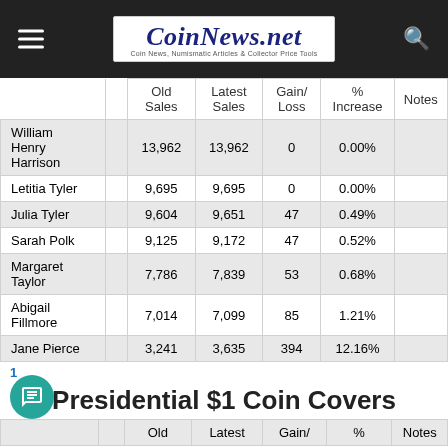CoinNews.net — Coin News, Numismatic Articles & Collector Price Tools
|  |  | Old Sales | Latest Sales | Gain/ Loss | % Increase | Notes |
| --- | --- | --- | --- | --- | --- | --- |
| William Henry Harrison |  | 13,962 | 13,962 | 0 | 0.00% |  |
| Letitia Tyler |  | 9,695 | 9,695 | 0 | 0.00% |  |
| Julia Tyler |  | 9,604 | 9,651 | 47 | 0.49% |  |
| Sarah Polk |  | 9,125 | 9,172 | 47 | 0.52% |  |
| Margaret Taylor |  | 7,786 | 7,839 | 53 | 0.68% |  |
| Abigail Fillmore |  | 7,014 | 7,099 | 85 | 1.21% |  |
| Jane Pierce |  | 3,241 | 3,635 | 394 | 12.16% |  |
1
Presidential $1 Coin Covers
|  |  | Old | Latest | Gain/ | % | Notes |
| --- | --- | --- | --- | --- | --- | --- |